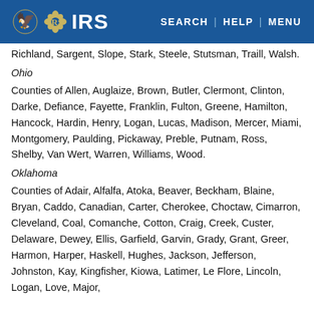IRS — SEARCH | HELP | MENU
Richland, Sargent, Slope, Stark, Steele, Stutsman, Traill, Walsh.
Ohio
Counties of Allen, Auglaize, Brown, Butler, Clermont, Clinton, Darke, Defiance, Fayette, Franklin, Fulton, Greene, Hamilton, Hancock, Hardin, Henry, Logan, Lucas, Madison, Mercer, Miami, Montgomery, Paulding, Pickaway, Preble, Putnam, Ross, Shelby, Van Wert, Warren, Williams, Wood.
Oklahoma
Counties of Adair, Alfalfa, Atoka, Beaver, Beckham, Blaine, Bryan, Caddo, Canadian, Carter, Cherokee, Choctaw, Cimarron, Cleveland, Coal, Comanche, Cotton, Craig, Creek, Custer, Delaware, Dewey, Ellis, Garfield, Garvin, Grady, Grant, Greer, Harmon, Harper, Haskell, Hughes, Jackson, Jefferson, Johnston, Kay, Kingfisher, Kiowa, Latimer, Le Flore, Lincoln, Logan, Love, Major, Marshall, Mayes, McClain, McCurtain, McIntosh, Murray,